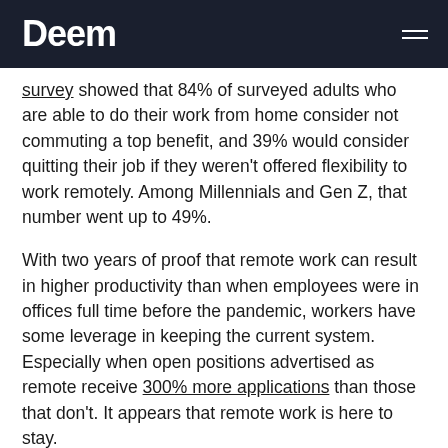Deem
survey showed that 84% of surveyed adults who are able to do their work from home consider not commuting a top benefit, and 39% would consider quitting their job if they weren't offered flexibility to work remotely. Among Millennials and Gen Z, that number went up to 49%.
With two years of proof that remote work can result in higher productivity than when employees were in offices full time before the pandemic, workers have some leverage in keeping the current system. Especially when open positions advertised as remote receive 300% more applications than those that don't. It appears that remote work is here to stay.
Become an ally for women